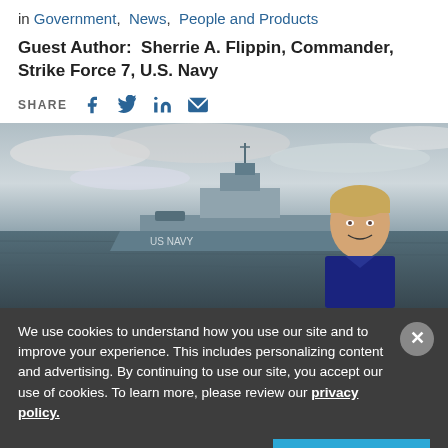in Government, News, People and Products
Guest Author:  Sherrie A. Flippin, Commander, Strike Force 7, U.S. Navy
SHARE
[Figure (photo): A U.S. Navy officer smiling in front of a naval warship at sea under a cloudy sky]
We use cookies to understand how you use our site and to improve your experience. This includes personalizing content and advertising. By continuing to use our site, you accept our use of cookies. To learn more, please review our privacy policy.
Accept Cookies